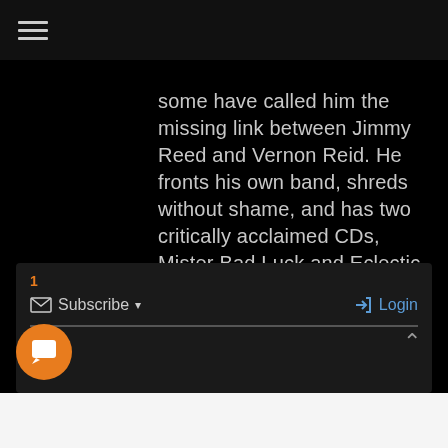≡ (hamburger menu icon)
some have called him the missing link between Jimmy Reed and Vernon Reid. He fronts his own band, shreds without shame, and has two critically acclaimed CDs, Mister Bad Luck and Eclectic Soul.
1
Subscribe ▾
Login